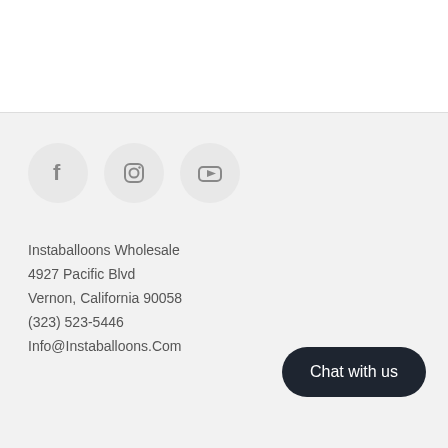[Figure (other): Three social media icon circles: Facebook (f), Instagram (camera icon), YouTube (play button)]
Instaballoons Wholesale
4927 Pacific Blvd
Vernon, California 90058
(323) 523-5446
Info@Instaballoons.Com
Chat with us